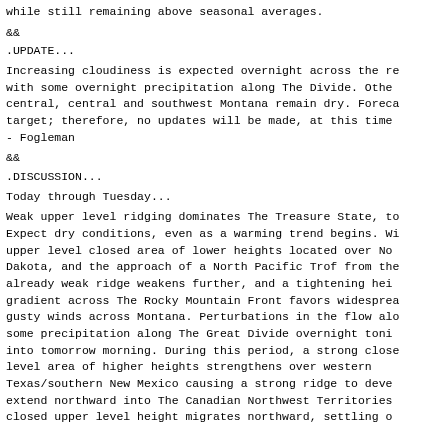while still remaining above seasonal averages.
&&
.UPDATE...
Increasing cloudiness is expected overnight across the re
with some overnight precipitation along The Divide. Othe
central, central and southwest Montana remain dry. Foreca
target; therefore, no updates will be made, at this time
- Fogleman
&&
.DISCUSSION...
Today through Tuesday...
Weak upper level ridging dominates The Treasure State, to
Expect dry conditions, even as a warming trend begins. Wi
upper level closed area of lower heights located over No
Dakota, and the approach of a North Pacific Trof from the
already weak ridge weakens further, and a tightening hei
gradient across The Rocky Mountain Front favors widesprea
gusty winds across Montana. Perturbations in the flow alo
some precipitation along The Great Divide overnight toni
into tomorrow morning. During this period, a strong close
level area of higher heights strengthens over western
Texas/southern New Mexico causing a strong ridge to deve
extend northward into The Canadian Northwest Territories
closed upper level height migrates northward, settling o